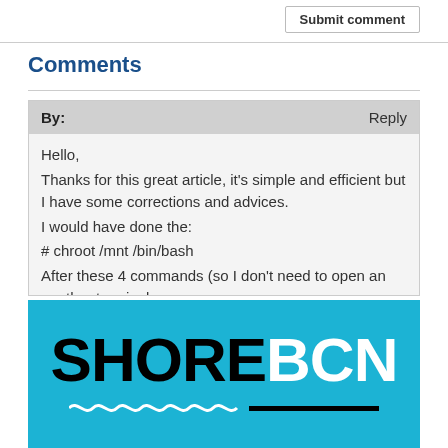Submit comment
Comments
By:
Reply
Hello,
Thanks for this great article, it's simple and efficient but I have some corrections and advices.
I would have done the:
# chroot /mnt /bin/bash
After these 4 commands (so I don't need to open an another terminal:
# cp /etc/resolv.conf /mnt/etc/resolv.conf
# cp /etc/network/interface /mnt/network/interface
# cp /etc/apt/source.list /mnt/etc/apt/sources.list
[Figure (logo): SHOREBCN logo on cyan/turquoise background with wave graphic]